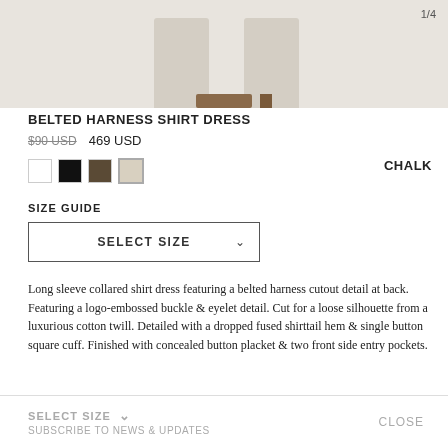[Figure (photo): Product photo of a belted harness shirt dress in chalk/cream color, showing lower portion of dress on model, page indicator 1/4 in top right]
BELTED HARNESS SHIRT DRESS
$90 USD   469 USD
CHALK
SIZE GUIDE
SELECT SIZE
Long sleeve collared shirt dress featuring a belted harness cutout detail at back. Featuring a logo-embossed buckle & eyelet detail. Cut for a loose silhouette from a luxurious cotton twill. Detailed with a dropped fused shirttail hem & single button square cuff. Finished with concealed button placket & two front side entry pockets.
SELECT SIZE   SUBSCRIBE TO NEWS & UPDATES   CLOSE